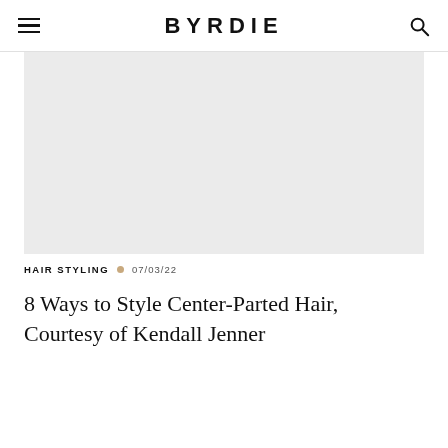BYRDIE
[Figure (photo): Large hero image placeholder — light gray rectangle representing a photo of center-parted hair styling]
HAIR STYLING • 07/03/22
8 Ways to Style Center-Parted Hair, Courtesy of Kendall Jenner